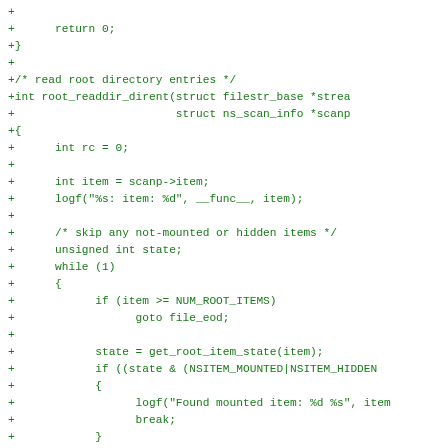diff/patch code showing root_readdir_dirent function implementation in C